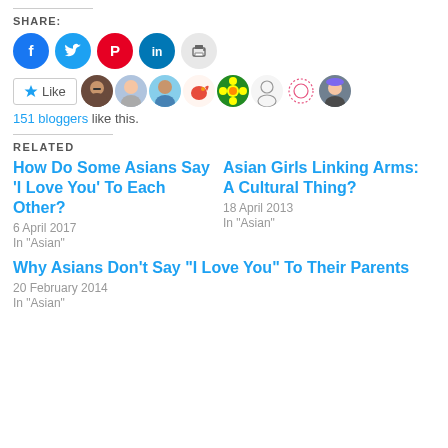SHARE:
[Figure (illustration): Social share icons: Facebook (blue), Twitter (blue), Pinterest (red), LinkedIn (teal), Print (gray)]
[Figure (illustration): Like button with star icon and a row of blogger avatar photos]
151 bloggers like this.
RELATED
How Do Some Asians Say ‘I Love You’ To Each Other?
6 April 2017
In "Asian"
Asian Girls Linking Arms: A Cultural Thing?
18 April 2013
In "Asian"
Why Asians Don’t Say “I Love You” To Their Parents
20 February 2014
In "Asian"